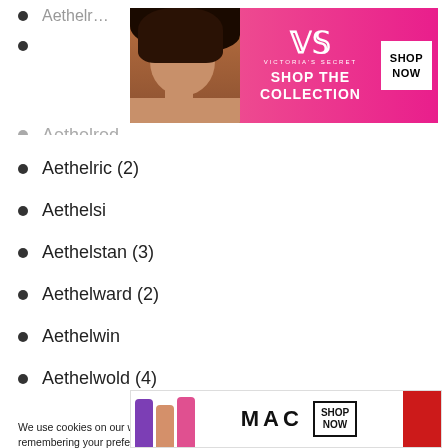[Figure (photo): Victoria's Secret advertisement banner with model, VS logo, 'SHOP THE COLLECTION' text and 'SHOP NOW' button on pink background]
Aethelred
Aethelric (2)
Aethelsi
Aethelstan (3)
Aethelward (2)
Aethelwin
Aethelwold (4)
Agenet
We use cookies on our website to give you the most relevant experience by remembering your preferences and repeat visits. By clicking “Accept”, you consent to the use of ALL the cookies.
Do not sell my personal information.
[Figure (photo): MAC cosmetics advertisement banner with lipsticks, MAC logo, SHOP NOW button]